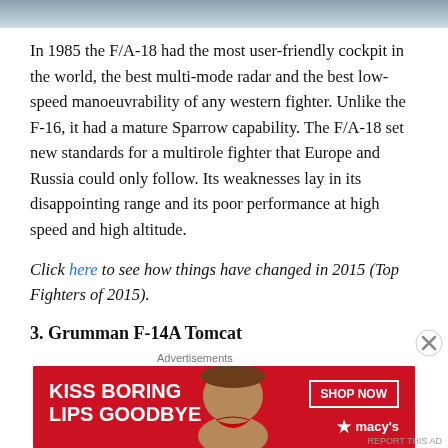[Figure (photo): Partial view of an aircraft, top portion cropped, sky/sea background]
In 1985 the F/A-18 had the most user-friendly cockpit in the world, the best multi-mode radar and the best low-speed manoeuvrability of any western fighter. Unlike the F-16, it had a mature Sparrow capability. The F/A-18 set new standards for a multirole fighter that Europe and Russia could only follow. Its weaknesses lay in its disappointing range and its poor performance at high speed and high altitude.
Click here to see how things have changed in 2015 (Top Fighters of 2015).
3. Grumman F-14A Tomcat
[Figure (photo): Advertisement banner: KISS BORING LIPS GOODBYE — SHOP NOW — macys]